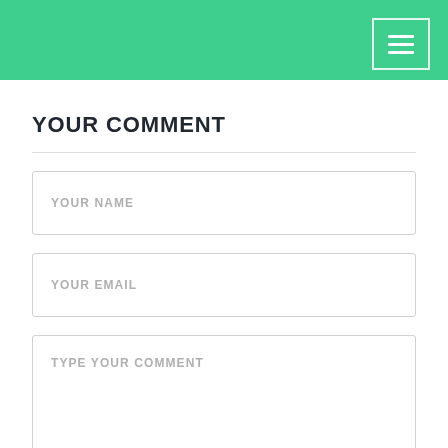[Figure (screenshot): Green header bar with hamburger menu button (three white horizontal lines) inside a white-bordered rectangle in the top right corner]
YOUR COMMENT
[Figure (screenshot): Form with three input fields: YOUR NAME (text input), YOUR EMAIL (text input), TYPE YOUR COMMENT (textarea)]